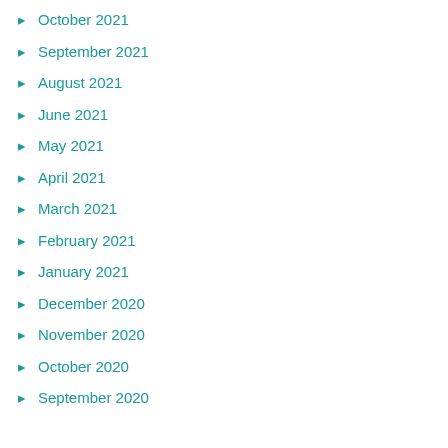October 2021
September 2021
August 2021
June 2021
May 2021
April 2021
March 2021
February 2021
January 2021
December 2020
November 2020
October 2020
September 2020